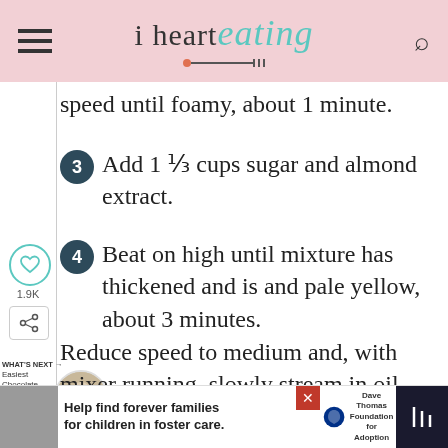i heart eating
speed until foamy, about 1 minute.
3 Add 1 ⅓ cups sugar and almond extract.
4 Beat on high until mixture has thickened and is and pale yellow, about 3 minutes.
Reduce speed to medium and, with mixer running, slowly stream in oil. until oil is fully incorporated, about 1 minute.
Help find forever families for children in foster care. Dave Thomas Foundation for Adoption